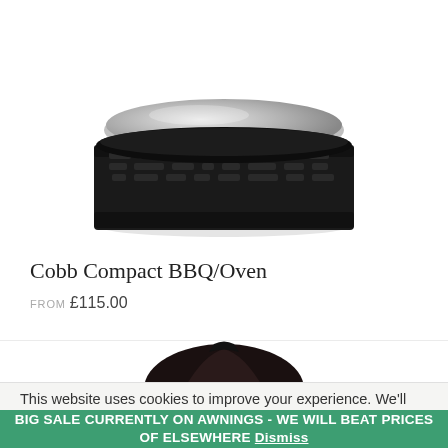[Figure (photo): Close-up photo of a Cobb Compact BBQ/Oven, showing a round black grill unit with a metallic silver lid on top and decorative perforated black casing around the middle.]
Cobb Compact BBQ/Oven
FROM £115.00
[Figure (photo): Partial view of a dark-colored product (bag or carrying case) at the bottom of the page, partially cropped.]
This website uses cookies to improve your experience. We'll
BIG SALE CURRENTLY ON AWNINGS - WE WILL BEAT PRICES OF ELSEWHERE Dismiss